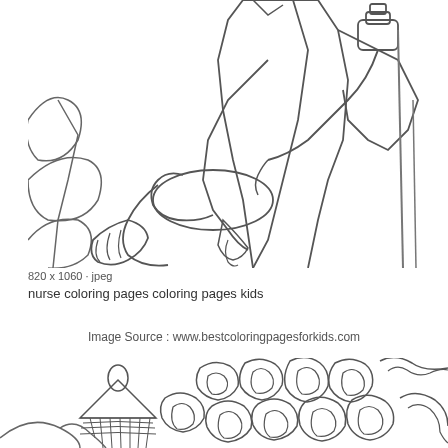[Figure (illustration): Black and white coloring page line art showing a nurse taking a patient's blood pressure. A medical professional holds a blood pressure cuff device and stethoscope, wrapping the cuff around a patient's arm. The image is uncolored outline art suitable for children's coloring pages.]
820 x 1060 · jpeg
nurse coloring pages coloring pages kids
Image Source : www.bestcoloringpagesforkids.com
[Figure (illustration): Black and white coloring page line art showing decorative swirling cloud patterns with a small pagoda or tower structure on the left side. The image is uncolored outline art with intricate spiral cloud designs.]